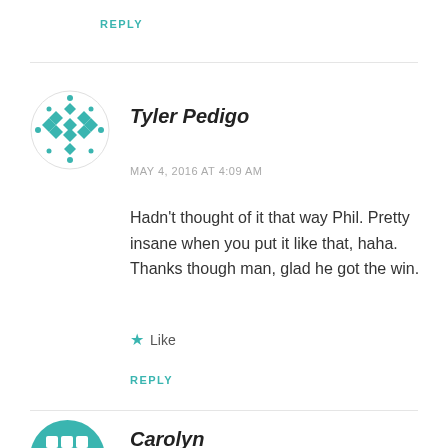REPLY
[Figure (illustration): Circular avatar with teal geometric diamond/cross pattern for user Tyler Pedigo]
Tyler Pedigo
MAY 4, 2016 AT 4:09 AM
Hadn't thought of it that way Phil. Pretty insane when you put it like that, haha. Thanks though man, glad he got the win.
★ Like
REPLY
[Figure (illustration): Circular avatar with teal geometric pattern for user Carolyn]
Carolyn